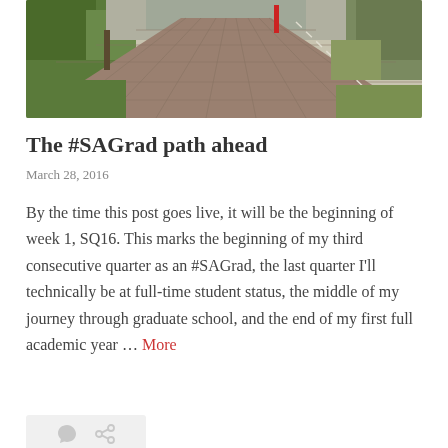[Figure (photo): Brick paved path or road receding into the distance, lined with green trees and bushes on either side, outdoor campus setting]
The #SAGrad path ahead
March 28, 2016
By the time this post goes live, it will be the beginning of week 1, SQ16. This marks the beginning of my third consecutive quarter as an #SAGrad, the last quarter I'll technically be at full-time student status, the middle of my journey through graduate school, and the end of my first full academic year … More
[Figure (other): Post action icons: comment bubble and share/link icon on a light grey rounded rectangle background]